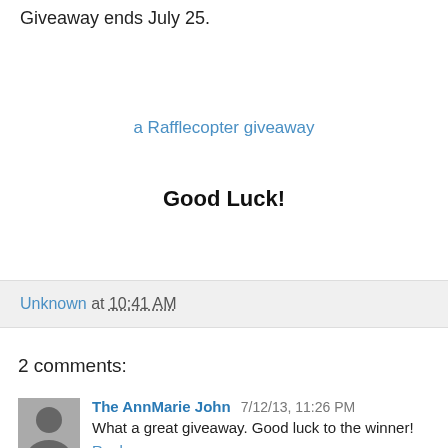Giveaway ends July 25.
a Rafflecopter giveaway
Good Luck!
Unknown at 10:41 AM
2 comments:
The AnnMarie John  7/12/13, 11:26 PM
What a great giveaway. Good luck to the winner!
Reply
▾ Replies
Tal @ The Crafeteria  7/13/13, 9:14 PM